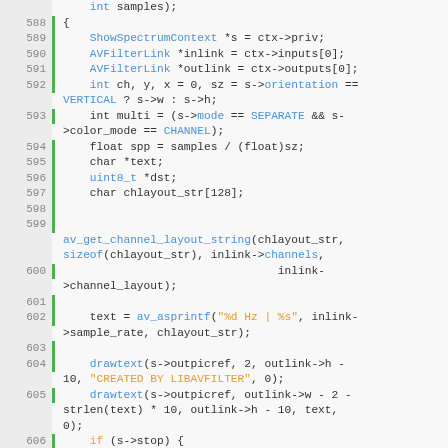[Figure (screenshot): Source code viewer showing C code lines 588-610 with line numbers, green bar markers on some lines, and syntax highlighting (blue for types/functions, orange for string literals, dark for plain code) on a light gray background.]